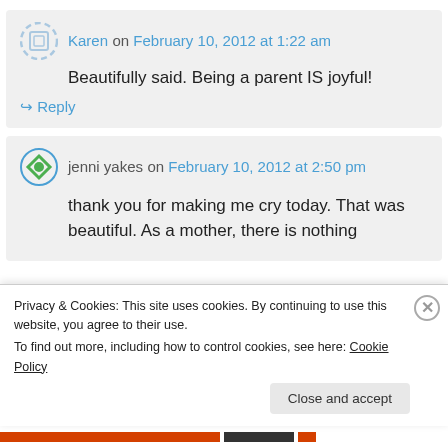Karen on February 10, 2012 at 1:22 am
Beautifully said. Being a parent IS joyful!
↳ Reply
jenni yakes on February 10, 2012 at 2:50 pm
thank you for making me cry today. That was beautiful. As a mother, there is nothing
Privacy & Cookies: This site uses cookies. By continuing to use this website, you agree to their use. To find out more, including how to control cookies, see here: Cookie Policy
Close and accept